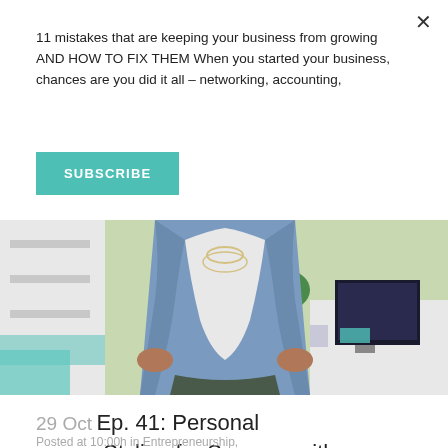11 mistakes that are keeping your business from growing AND HOW TO FIX THEM When you started your business, chances are you did it all – networking, accounting,
SUBSCRIBE
[Figure (photo): Woman in denim jacket standing with hands on hips in a bright office/studio setting with plants and computer in background]
29 Oct Ep. 41: Personal Styling for Success with Kristin Holt
Posted at 10:00h in Entrepreneurship,